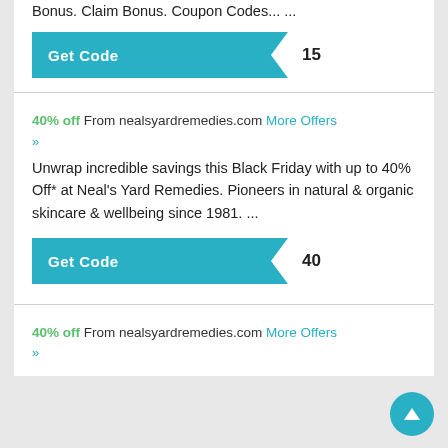Bonus. Claim Bonus. Coupon Codes... ...
[Figure (other): Get Code button with code fragment '15']
40% off From nealsyardremedies.com More Offers »»
Unwrap incredible savings this Black Friday with up to 40% Off* at Neal's Yard Remedies. Pioneers in natural & organic skincare & wellbeing since 1981. ...
[Figure (other): Get Code button with code '40']
40% off From nealsyardremedies.com More Offers »»